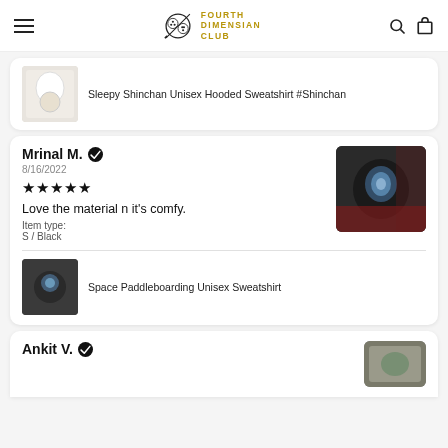Fourth Dimension Club
Sleepy Shinchan Unisex Hooded Sweatshirt #Shinchan
Mrinal M. ✓
8/16/2022
★★★★★
Love the material n it's comfy.
Item type:
S / Black
Space Paddleboarding Unisex Sweatshirt
Ankit V. ✓